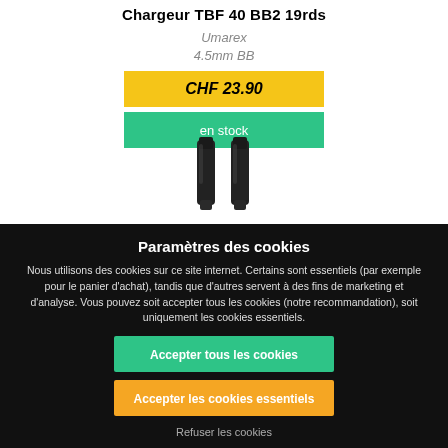Chargeur TBF 40 BB2 19rds
Umarex
4.5mm BB
CHF 23.90
en stock
[Figure (photo): Two black magazine/charger accessories for airgun]
Paramètres des cookies
Nous utilisons des cookies sur ce site internet. Certains sont essentiels (par exemple pour le panier d'achat), tandis que d'autres servent à des fins de marketing et d'analyse. Vous pouvez soit accepter tous les cookies (notre recommandation), soit uniquement les cookies essentiels.
Accepter tous les cookies
Accepter les cookies essentiels
Refuser les cookies